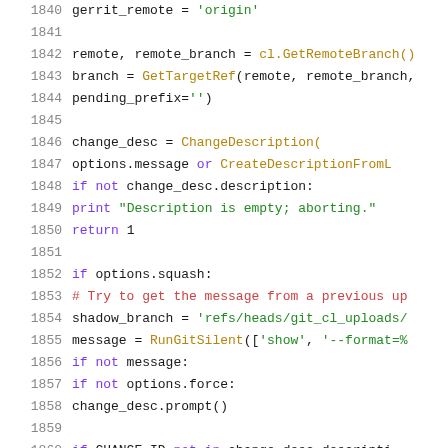Code listing lines 1840-1860, Python source code showing git cl upload function
1840    gerrit_remote = 'origin'
1841    (blank)
1842    remote, remote_branch = cl.GetRemoteBranch()
1843    branch = GetTargetRef(remote, remote_branch,
1844                              pending_prefix='')
1845    (blank)
1846    change_desc = ChangeDescription(
1847        options.message or CreateDescriptionFromL
1848    if not change_desc.description:
1849      print "Description is empty; aborting."
1850      return 1
1851    (blank)
1852    if options.squash:
1853      # Try to get the message from a previous up
1854      shadow_branch = 'refs/heads/git_cl_uploads/
1855      message = RunGitSilent(['show', '--format=%
1856      if not message:
1857        if not options.force:
1858          change_desc.prompt()
1859    (blank)
1860        if CHANGE_ID not in change_desc.descripti